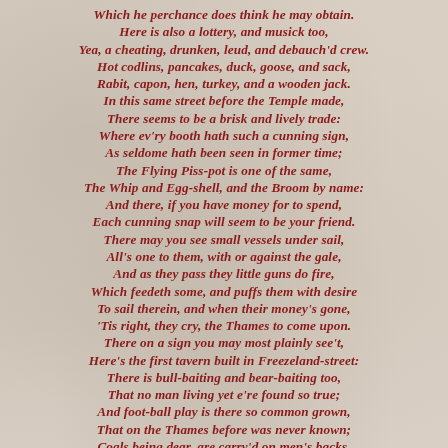Which he perchance does think he may obtain.
Here is also a lottery, and musick too,
Yea, a cheating, drunken, leud, and debauch'd crew.
Hot codlins, pancakes, duck, goose, and sack,
Rabit, capon, hen, turkey, and a wooden jack.
In this same street before the Temple made,
There seems to be a brisk and lively trade:
Where ev'ry booth hath such a cunning sign,
As seldome hath been seen in former time;
The Flying Piss-pot is one of the same,
The Whip and Egg-shell, and the Broom by name:
And there, if you have money for to spend,
Each cunning snap will seem to be your friend.
There may you see small vessels under sail,
All's one to them, with or against the gale,
And as they pass they little guns do fire,
Which feedeth some, and puffs them with desire
To sail therein, and when their money's gone,
'Tis right, they cry, the Thames to come upon.
There on a sign you may most plainly see't,
Here's the first tavern built in Freezeland-street:
There is bull-baiting and bear-baiting too,
That no man living yet e're found so true;
And foot-ball play is there so common grown,
That on the Thames before was never known;
Coals being dear, are carry'd on men's backs,
And some on sledges these are drawn in sacks;
Men do on horse-back ride from shore to shore,
Which formerly in boats were wafted o're:
Poor people hard shifts make for livelihoods,